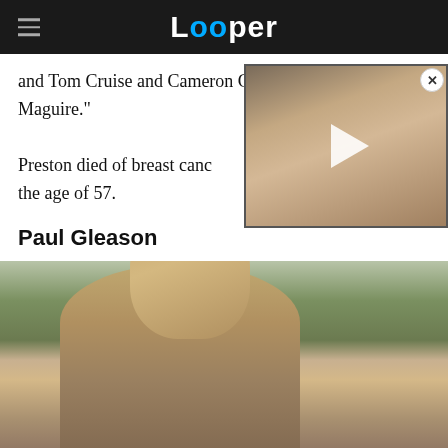Looper
and Tom Cruise and Cameron Crowe's megahit "Jerry Maguire."
[Figure (photo): Video thumbnail overlay of a heavyset man with curly reddish hair making an expressive face, with a play button overlay and a close (X) button]
Preston died of breast cancer at the age of 57.
Paul Gleason
[Figure (photo): Photo of a man with dark hair in a beige/tan jacket, outdoors with greenery in the background, slightly blurred/desaturated vintage look]